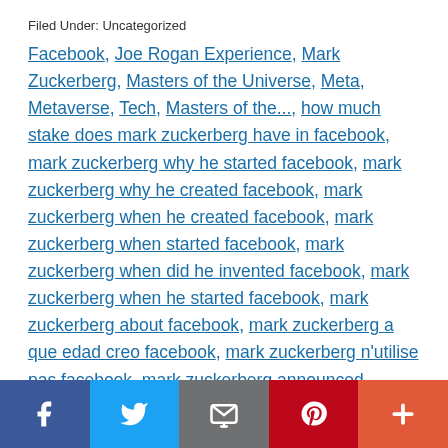Filed Under: Uncategorized
Facebook, Joe Rogan Experience, Mark Zuckerberg, Masters of the Universe, Meta, Metaverse, Tech, Masters of the..., how much stake does mark zuckerberg have in facebook, mark zuckerberg why he started facebook, mark zuckerberg why he created facebook, mark zuckerberg when he created facebook, mark zuckerberg when started facebook, mark zuckerberg when did he invented facebook, mark zuckerberg when he started facebook, mark zuckerberg about facebook, mark zuckerberg a que edad creo facebook, mark zuckerberg n'utilise pas facebook, mark zuckerberg announced metaverse, mark zuckerberg metaverse, mark zuckerberg draws how much annual salary as facebook's ceo